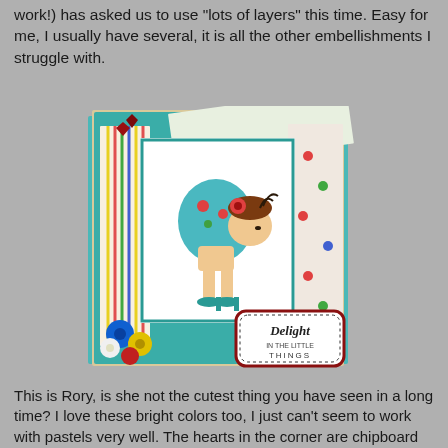work!) has asked us to use "lots of layers" this time. Easy for me, I usually have several, it is all the other embellishments I struggle with.
[Figure (photo): A handmade greeting card featuring a whimsical illustration of a little girl character named Rory bending over in high heels, surrounded by layered patterned papers in teal, striped, and floral designs, with paper flowers (blue, yellow, red, white) in the lower left corner, dark red glitter hearts in the upper left, and a polka-dot label reading 'Delight in the Little Things' in the lower right.]
This is Rory, is she not the cutest thing you have seen in a long time? I love these bright colors too, I just can't seem to work with pastels very well. The hearts in the corner are chipboard that I covered with scor tape, sprinkled with glitter then covered with glossy accents. Papers are an older MMF